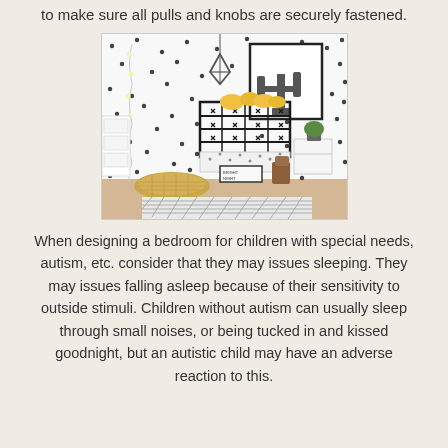to make sure all pulls and knobs are securely fastened.
[Figure (photo): A children's bedroom with a black metal bed frame, polka dot wall, cactus wall art print, hanging geometric lamp, woven floor cushion, wooden vase, small side table with plant, and a black and white patterned rug.]
When designing a bedroom for children with special needs, autism, etc. consider that they may issues sleeping.  They may issues falling asleep because of their sensitivity to outside stimuli.  Children without autism can usually sleep through small noises, or being tucked in and kissed goodnight, but an autistic child may have an adverse reaction to this.